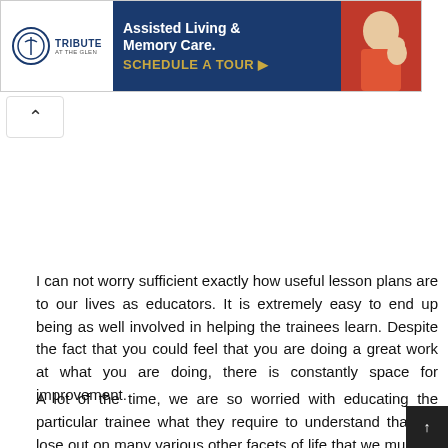[Figure (other): Advertisement banner for Tribute at the Glen Assisted Living & Memory Care with a Schedule a Tour call to action button and photo of elderly person with caregiver]
I can not worry sufficient exactly how useful lesson plans are to our lives as educators. It is extremely easy to end up being as well involved in helping the trainees learn. Despite the fact that you could feel that you are doing a great work at what you are doing, there is constantly space for improvement.
A lot of the time, we are so worried with educating the particular trainee what they require to understand that we lose out on many various other facets of life that we must be regarding to. I